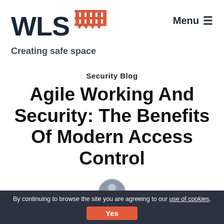WLS Creating safe space | Menu
Security Blog
Agile Working And Security: The Benefits Of Modern Access Control
[Figure (photo): Circular avatar photo of a person]
By continuing to browse the site you are agreeing to our use of cookies. Yes